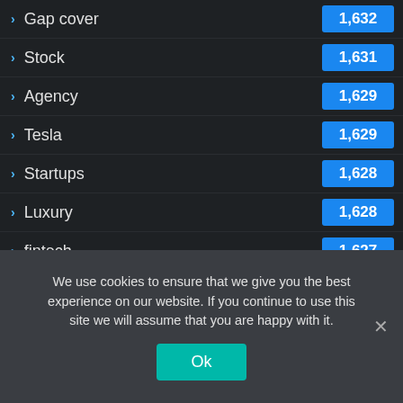Gap cover 1,632
Stock 1,631
Agency 1,629
Tesla 1,629
Startups 1,628
Luxury 1,628
fintech 1,627
Jobs 1,625
Sales 1,618
Trading 1,617
We use cookies to ensure that we give you the best experience on our website. If you continue to use this site we will assume that you are happy with it.
Ok